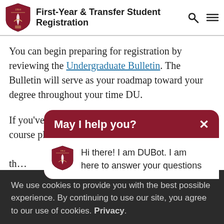First-Year & Transfer Student Registration
You can begin preparing for registration by reviewing the Undergraduate Bulletin. The Bulletin will serve as your roadmap toward your degree throughout your time DU.
If you've decided on a major, you will find a course plan... guidance on what... you move... during all of th... some guid... at to
[Figure (screenshot): DUBot chat popup: 'May I help you?' header in dark red with X close button. Chat body shows DU shield logo and text: 'Hi there! I am DUBot. I am here to answer your questions']
We use cookies to provide you with the best possible experience. By continuing to use our site, you agree to our use of cookies. Privacy.